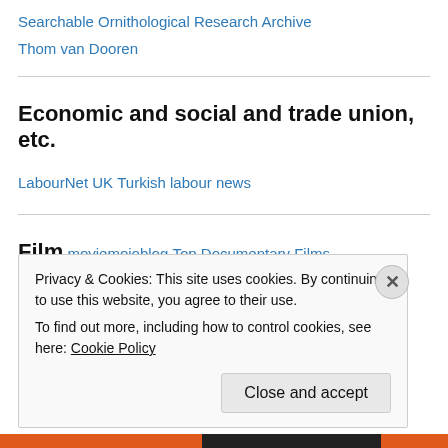Searchable Ornithological Research Archive
Thom van Dooren
Economic and social and trade union, etc.
LabourNet UK
Turkish labour news
Film
moviemojoblog
Top Documentary Films
Privacy & Cookies: This site uses cookies. By continuing to use this website, you agree to their use.
To find out more, including how to control cookies, see here: Cookie Policy
Close and accept